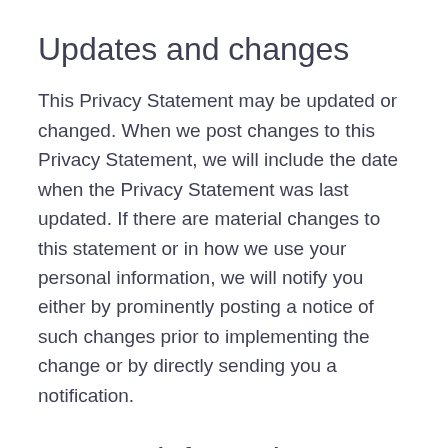Updates and changes
This Privacy Statement may be updated or changed. When we post changes to this Privacy Statement, we will include the date when the Privacy Statement was last updated. If there are material changes to this statement or in how we use your personal information, we will notify you either by prominently posting a notice of such changes prior to implementing the change or by directly sending you a notification.
Contact information
If you have any questions about this Privacy Statement, or privacy on our websites, please drop us a line at vivaldi.com/contact or contact us at: